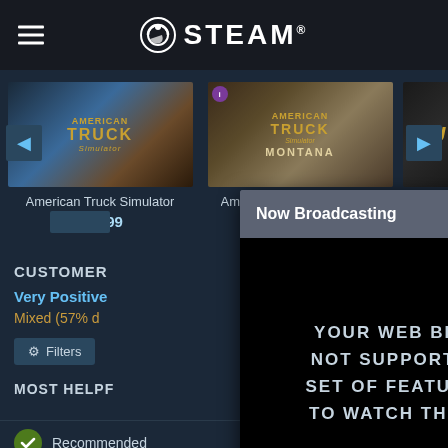STEAM
[Figure (screenshot): American Truck Simulator game card with image and price $19.99]
[Figure (screenshot): American Truck Simulator Montana DLC game card with price $11.99]
[Figure (screenshot): Euro Truck Simulator game card partially visible]
CUSTOMER
Very Positive
Mixed (57% d
Filters
MOST HELPF
Recommended
[Figure (screenshot): Now Broadcasting modal dialog showing error message: YOUR WEB BROWSER DOES NOT SUPPORT THE MINIMUM SET OF FEATURES REQUIRED TO WATCH THIS BROADCAST]